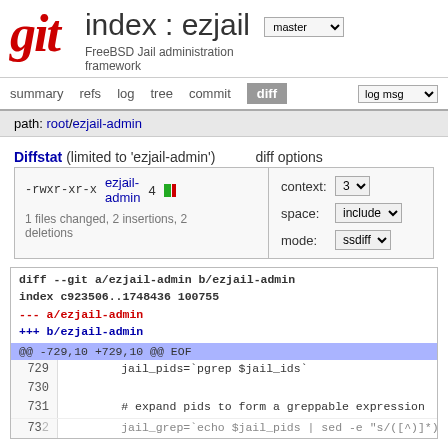git index : ezjail — FreeBSD Jail administration framework
summary  refs  log  tree  commit  diff
path: root/ezjail-admin
Diffstat (limited to 'ezjail-admin')   diff options
| -rwxr-xr-x | ezjail-admin | 4 |
| --- | --- | --- |
| 1 files changed, 2 insertions, 2 deletions |
| context: | 3 |
| --- | --- |
| space: | include |
| mode: | ssdiff |
[Figure (screenshot): Git diff code block showing diff --git a/ezjail-admin b/ezjail-admin, index c923506..1748436 100755, --- a/ezjail-admin, +++ b/ezjail-admin, @@ -729,10 +729,10 @@ EOF, lines 729-731 and partial 732]
diff --git a/ezjail-admin b/ezjail-admin
index c923506..1748436 100755
--- a/ezjail-admin
+++ b/ezjail-admin
@@ -729,10 +729,10 @@ EOF
729    jail_pids=`pgrep $jail_ids`
730
731    # expand pids to form a greppable expression